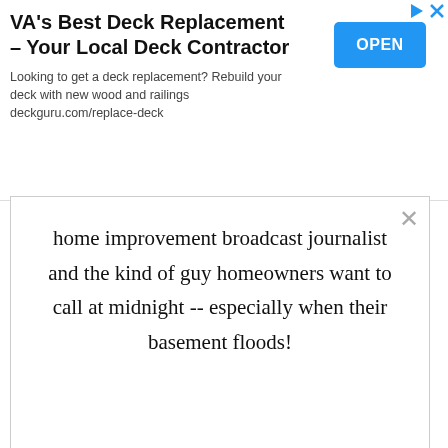[Figure (screenshot): Advertisement banner for VA's Best Deck Replacement with OPEN button]
home improvement broadcast journalist and the kind of guy homeowners want to call at midnight -- especially when their basement floods!